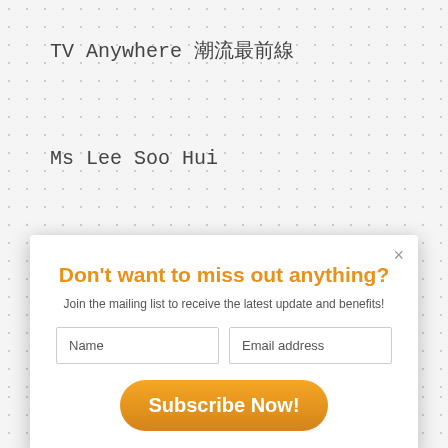TV Anywhere 潮流最前线
Ms Lee Soo Hui
[Figure (screenshot): Email subscription popup modal with title 'Don't want to miss out anything?', subtitle text, Name and Email address input fields, and an orange Subscribe Now button with a close X button.]
Kelly Poon 龚芷娟
Angel Yeung 杨天华
[Figure (infographic): Social share bar with Twitter (blue), Facebook (blue), Pinterest (red), LinkedIn (dark blue) share buttons, and a share count showing 0 SHARES.]